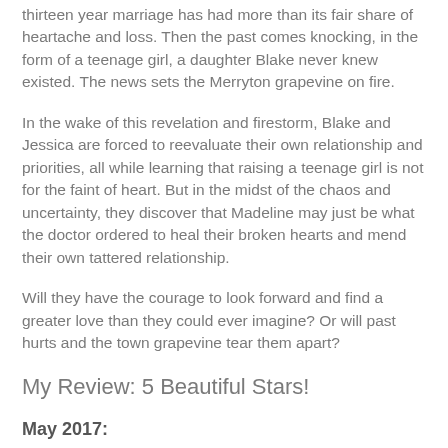thirteen year marriage has had more than its fair share of heartache and loss. Then the past comes knocking, in the form of a teenage girl, a daughter Blake never knew existed. The news sets the Merryton grapevine on fire.
In the wake of this revelation and firestorm, Blake and Jessica are forced to reevaluate their own relationship and priorities, all while learning that raising a teenage girl is not for the faint of heart. But in the midst of the chaos and uncertainty, they discover that Madeline may just be what the doctor ordered to heal their broken hearts and mend their own tattered relationship.
Will they have the courage to look forward and find a greater love than they could ever imagine? Or will past hurts and the town grapevine tear them apart?
My Review: 5 Beautiful Stars!
May 2017:
*dreamy sigh* 3rd time around and I still totally LOVE Jessic...